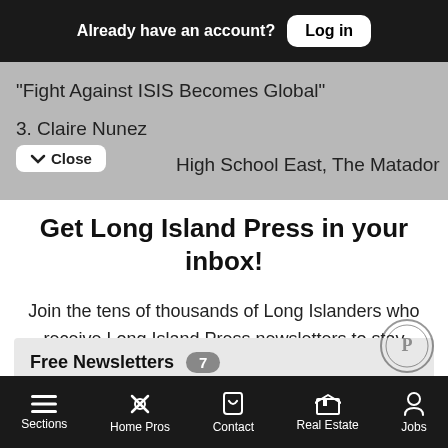Already have an account? Log in
"Fight Against ISIS Becomes Global"
3. Claire Nunez
High School East, The Matador
Get Long Island Press in your inbox!
Join the tens of thousands of Long Islanders who receive Long Island Press newsletters to stay informed about their communities.
Free Newsletters 7
The Daily
Sections   Home Pros   Contact   Real Estate   Jobs